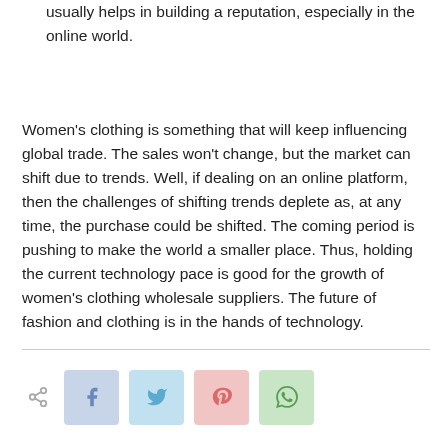usually helps in building a reputation, especially in the online world.
Women's clothing is something that will keep influencing global trade. The sales won't change, but the market can shift due to trends. Well, if dealing on an online platform, then the challenges of shifting trends deplete as, at any time, the purchase could be shifted. The coming period is pushing to make the world a smaller place. Thus, holding the current technology pace is good for the growth of women's clothing wholesale suppliers. The future of fashion and clothing is in the hands of technology.
[Figure (other): Social share bar with share icon and four sharing buttons: Facebook (blue), Twitter (light blue), Pinterest (pink), WhatsApp (green)]